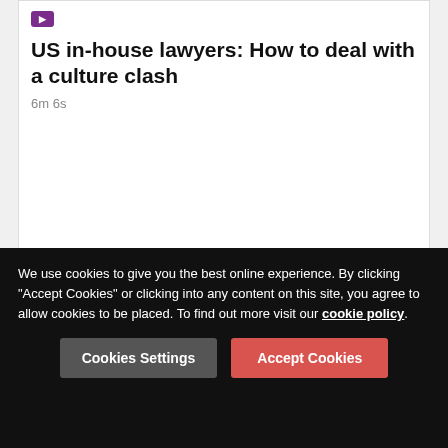US in-house lawyers: How to deal with a culture clash
6m 6s
[Figure (logo): Lexology PRO logo with exclamation mark prefix]
Related practical resources
We use cookies to give you the best online experience. By clicking "Accept Cookies" or clicking into any content on this site, you agree to allow cookies to be placed. To find out more visit our cookie policy.
Cookies Settings
Accept Cookies